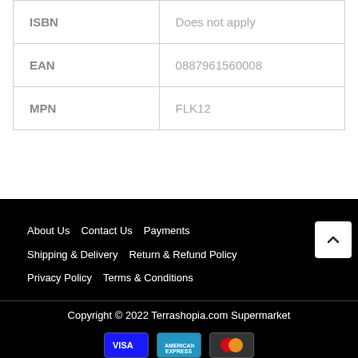| ISBN | Does not apply |
| EAN | 0887961560008 |
| MPN | FLK12 |
About Us   Contact Us   Payments   Shipping & Delivery   Return & Refund Policy   Privacy Policy   Terms & Conditions
Copyright © 2022 Terrashopia.com Supermarket